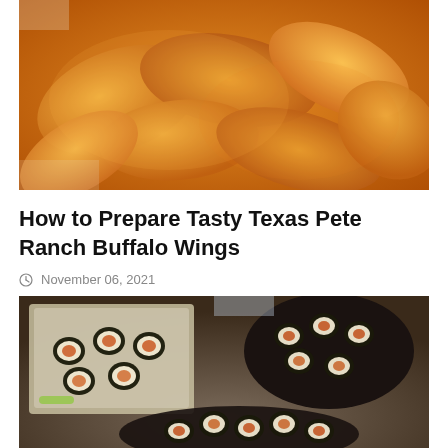[Figure (photo): Photo of buffalo chicken wings coated in orange-red sauce piled on a white surface]
How to Prepare Tasty Texas Pete Ranch Buffalo Wings
November 06, 2021
[Figure (photo): Photo of sushi rolls arranged on plates on a countertop, topped with spicy sauce]